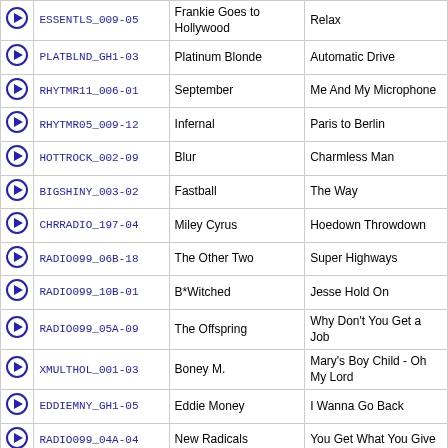|  | Code | Artist | Title |
| --- | --- | --- | --- |
| ▶ | ESSENTLS_009-05 | Frankie Goes to Hollywood | Relax |
| ▶ | PLATBLND_GH1-03 | Platinum Blonde | Automatic Drive |
| ▶ | RHYTMR11_006-01 | September | Me And My Microphone |
| ▶ | RHYTMR05_009-12 | Infernal | Paris to Berlin |
| ▶ | HOTTROCK_002-09 | Blur | Charmless Man |
| ▶ | BIGSHINY_003-02 | Fastball | The Way |
| ▶ | CHRRADIO_197-04 | Miley Cyrus | Hoedown Throwdown |
| ▶ | RADIO099_06B-18 | The Other Two | Super Highways |
| ▶ | RADIO099_10B-01 | B*Witched | Jesse Hold On |
| ▶ | RADIO099_05A-09 | The Offspring | Why Don't You Get a Job |
| ▶ | XMULTHOL_001-03 | Boney M. | Mary's Boy Child - Oh My Lord |
| ▶ | EDDIEMNY_GH1-05 | Eddie Money | I Wanna Go Back |
| ▶ | RADIO099_04A-04 | New Radicals | You Get What You Give |
| ▶ | HOTTROCK_006-06 | Cracker | Nothing to Believe In |
| ▶ | MASSIVE__200-03 | Joee | Do You Right |
| ▶ | ESSENTLS_013-16 | Fat Les | Vindaloo |
| ▶ | RHYTMR08_006-09 | George LaMond | Don't Stop Believin' |
| ▶ | KYLIEMIN_FV1-01 | Kylie Minogue | More More More |
| ▶ | SHANIATW_GH1-13 | Shania Twain | You Win My Love |
| ▶ | DTRANDOM_021-11 | Eric Clapton | Forever Man |
| ▶ | POWERTRK_091-05 | Roxette | How Do You Do! |
| ▶ |  |  |  |